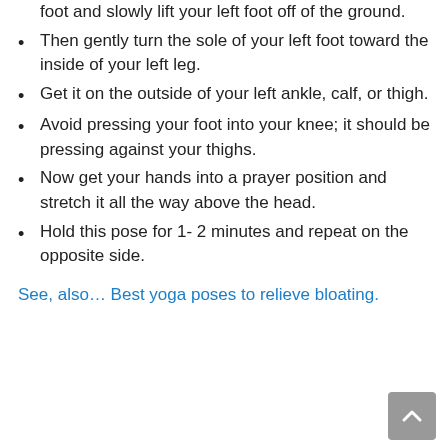foot and slowly lift your left foot off of the ground.
Then gently turn the sole of your left foot toward the inside of your left leg.
Get it on the outside of your left ankle, calf, or thigh.
Avoid pressing your foot into your knee; it should be pressing against your thighs.
Now get your hands into a prayer position and stretch it all the way above the head.
Hold this pose for 1- 2 minutes and repeat on the opposite side.
See, also… Best yoga poses to relieve bloating.